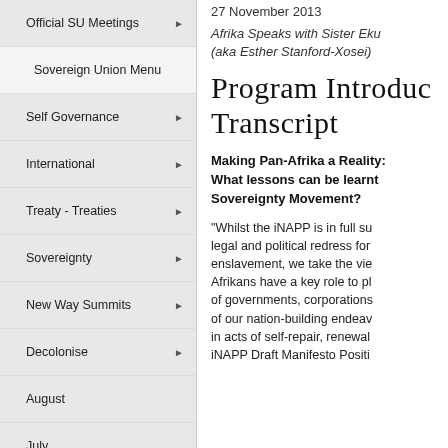Official SU Meetings
Sovereign Union Menu
Self Governance
International
Treaty - Treaties
Sovereignty
New Way Summits
Decolonise
August
July
Special Features
History
The Frontier Wars
27 November 2013
Afrika Speaks with Sister Eku (aka Esther Stanford-Xosei)
Program Introduction Transcript
Making Pan-Afrika a Reality: What lessons can be learnt Sovereignty Movement?
"Whilst the iNAPP is in full su legal and political redress for enslavement, we take the vie Afrikans have a key role to pl of governments, corporations of our nation-building endeav in acts of self-repair, renewal iNAPP Draft Manifesto Positi